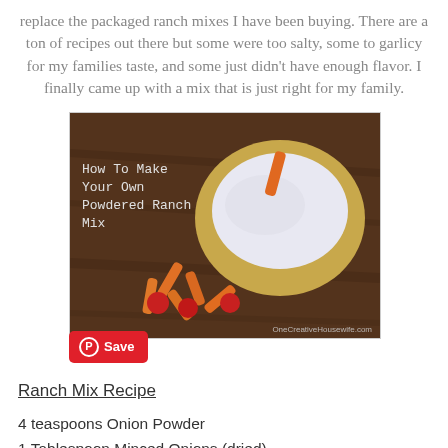replace the packaged ranch mixes I have been buying. There are a ton of recipes out there but some were too salty, some to garlicy for my families taste, and some just didn't have enough flavor. I finally came up with a mix that is just right for my family.
[Figure (photo): Bowl of ranch dip with baby carrots and cherry tomatoes, with text overlay 'How To Make Your Own Powdered Ranch Mix'. Watermark: OneCreativeHousewife.com. Pinterest Save button visible.]
Ranch Mix Recipe
4 teaspoons Onion Powder
1 Tablespoon Minced Onions (dried)
5 teaspoons Parsley
1-2 teaspoons salt (to taste)